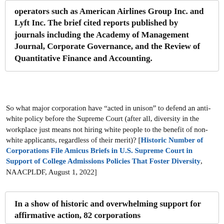operators such as American Airlines Group Inc. and Lyft Inc. The brief cited reports published by journals including the Academy of Management Journal, Corporate Governance, and the Review of Quantitative Finance and Accounting.
So what major corporation have “acted in unison” to defend an anti-white policy before the Supreme Court (after all, diversity in the workplace just means not hiring white people to the benefit of non-white applicants, regardless of their merit)? [Historic Number of Corporations File Amicus Briefs in U.S. Supreme Court in Support of College Admissions Policies That Foster Diversity, NAACPLDF, August 1, 2022]
In a show of historic and overwhelming support for affirmative action, 82 corporations